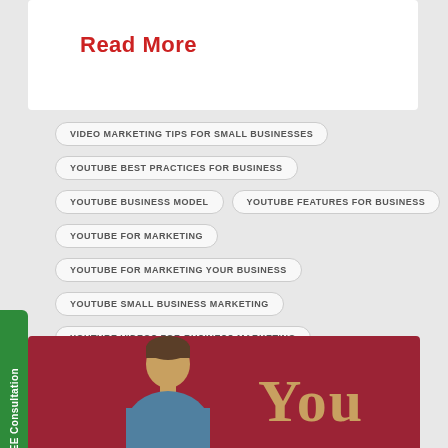Read More
VIDEO MARKETING TIPS FOR SMALL BUSINESSES
YOUTUBE BEST PRACTICES FOR BUSINESS
YOUTUBE BUSINESS MODEL
YOUTUBE FEATURES FOR BUSINESS
YOUTUBE FOR MARKETING
YOUTUBE FOR MARKETING YOUR BUSINESS
YOUTUBE SMALL BUSINESS MARKETING
YOUTUBE VIDEOS FOR BUSINESS MARKETING
Book Your FREE Consultation
[Figure (illustration): Bottom section showing a flat illustration of a person (head and shoulders in blue shirt) on a dark red background with the word 'You' in tan/gold large text]